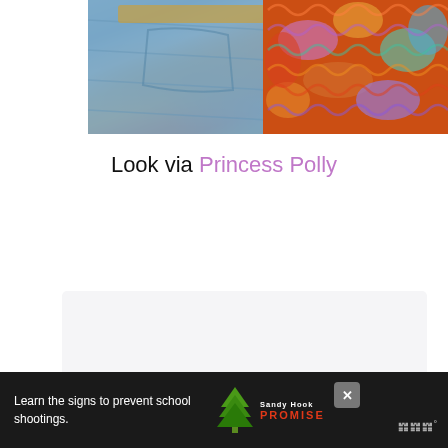[Figure (photo): Close-up photo of jeans fabric and colorful chunky knit scarf or textile in orange, purple, teal, and multicolor yarns]
Look via Princess Polly
[Figure (other): Content placeholder box with light gray background, heart/like button (6.6K likes) and share button on the right side]
[Figure (other): Advertisement banner: 'Learn the signs to prevent school shootings.' with Sandy Hook Promise logo (green tree) and brand watermark]